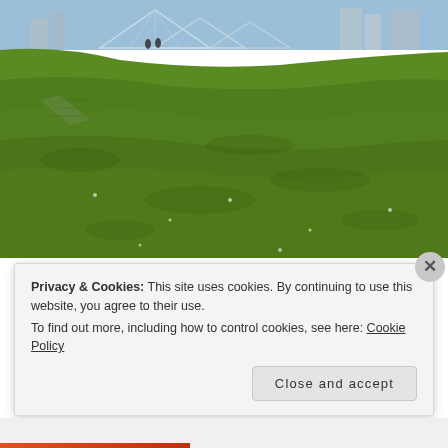[Figure (photo): Outdoor photo showing a green grass hillside/lawn with glass pyramid structures and city buildings visible in the background. Two people visible near the structures at the top left. Bright sunny day.]
I knew the community gardens were around the west side of the conservatory so we headed there. These gardens
Privacy & Cookies: This site uses cookies. By continuing to use this website, you agree to their use.
To find out more, including how to control cookies, see here: Cookie Policy
Close and accept